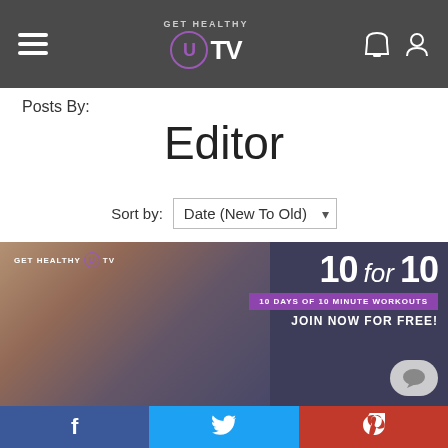GET HEALTHY U TV — navigation bar with hamburger menu, logo, and icons
Posts By:
Editor
Sort by: Date (New To Old)
[Figure (photo): Promotional banner image for Get Healthy U TV showing a woman doing a side plank exercise on a mat with a laptop and water bottle nearby. Text overlay reads '10 for 10 – 10 Days of 10 Minute Workouts – Join Now For Free!' with the Get Healthy U TV logo in the top-left corner.]
Social share bar: Facebook, Twitter, Pinterest